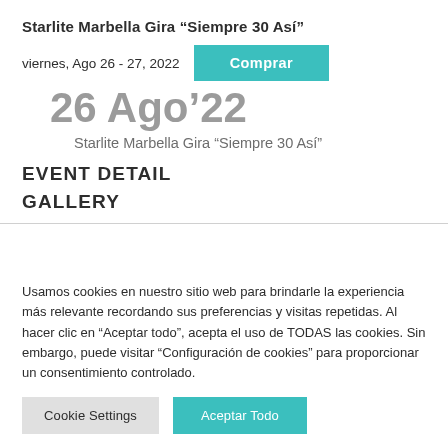Starlite Marbella Gira “Siempre 30 Así”
viernes, Ago 26 - 27, 2022
26 Ago’22
Starlite Marbella Gira “Siempre 30 Así”
EVENT DETAIL
GALLERY
Usamos cookies en nuestro sitio web para brindarle la experiencia más relevante recordando sus preferencias y visitas repetidas. Al hacer clic en "Aceptar todo", acepta el uso de TODAS las cookies. Sin embargo, puede visitar "Configuración de cookies" para proporcionar un consentimiento controlado.
Cookie Settings
Aceptar Todo